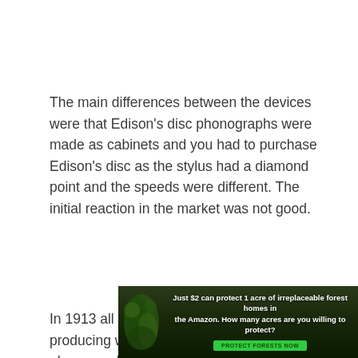The main differences between the devices were that Edison's disc phonographs were made as cabinets and you had to purchase Edison's disc as the stylus had a diamond point and the speeds were different. The initial reaction in the market was not good.
In 1913 all other manufacturers stopped producing wax cylinders for Edison's original phonographs which forced Edison to be the only manufacturer. The market had spoken and chosen the flat disc very similar to the records we use to this day. Edison continued producing cylinders for his level
[Figure (other): Advertisement banner: 'Just $2 can protect 1 acre of irreplaceable forest homes in the Amazon. How many acres are you willing to protect?' with a green 'PROTECT FORESTS NOW' button and forest/leaf imagery on the left side.]